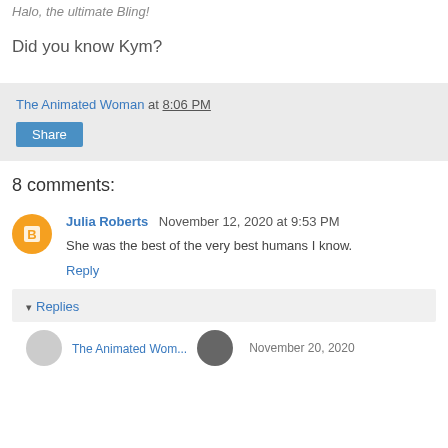Halo, the ultimate Bling!
Did you know Kym?
The Animated Woman at 8:06 PM
Share
8 comments:
Julia Roberts  November 12, 2020 at 9:53 PM
She was the best of the very best humans I know.
Reply
Replies
The Animated Woman  November 20, 2020